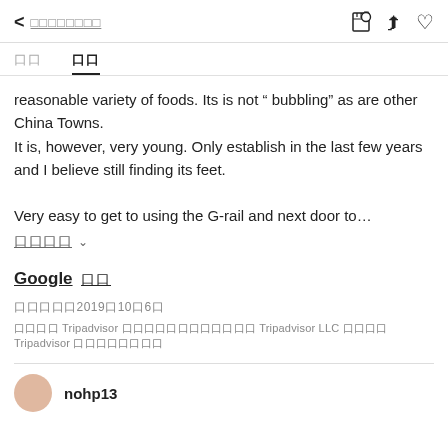< ░░░░░░░░
口口　口口
reasonable variety of foods. Its is not " bubbling" as are other China Towns.
It is, however, very young. Only establish in the last few years and I believe still finding its feet.

Very easy to get to using the G-rail and next door to…
口口口口 ∨
Google 口口
口口口口口2019口10口6口
口口口口 Tripadvisor 口口口口口口口口口口口口 Tripadvisor LLC 口口口口 Tripadvisor 口口口口口口口口
nohp13